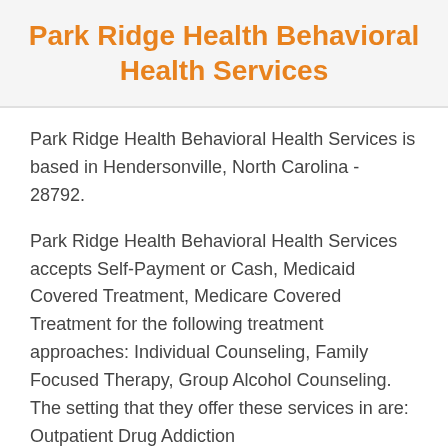Park Ridge Health Behavioral Health Services
Park Ridge Health Behavioral Health Services is based in Hendersonville, North Carolina - 28792.
Park Ridge Health Behavioral Health Services accepts Self-Payment or Cash, Medicaid Covered Treatment, Medicare Covered Treatment for the following treatment approaches: Individual Counseling, Family Focused Therapy, Group Alcohol Counseling. The setting that they offer these services in are: Outpatient Drug Addiction